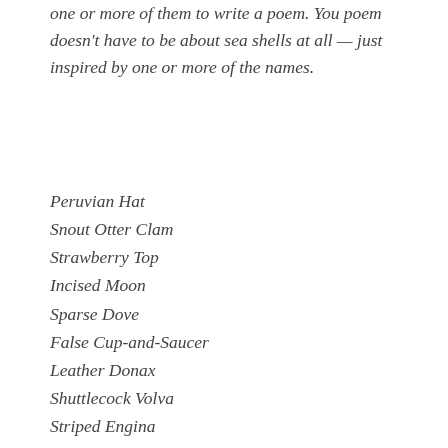one or more of them to write a poem. You poem doesn't have to be about sea shells at all — just inspired by one or more of the names.
Peruvian Hat
Snout Otter Clam
Strawberry Top
Incised Moon
Sparse Dove
False Cup-and-Saucer
Leather Donax
Shuttlecock Volva
Striped Engina
Tricolor Niso
Triangular Nutmeg
Shoulderblade Sea Cat